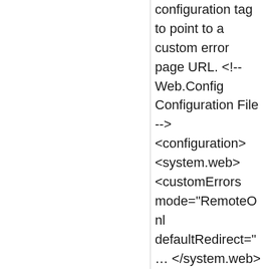configuration tag to point to a custom error page URL. <!-- Web.Config Configuration File --> <configuration> <system.web> <customErrors mode="RemoteOnly" defaultRedirect="..."> </system.web> </configuration> This has been going on for a week. I guess I'll just call in to pay it tomorrow.